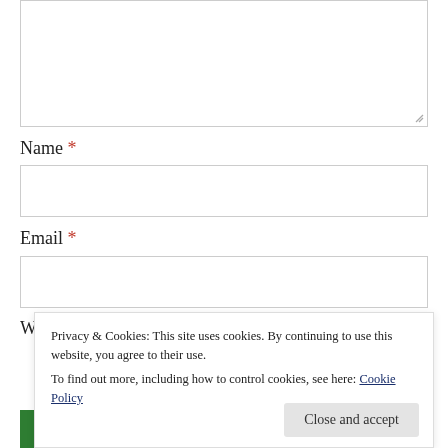[Figure (screenshot): Textarea input box (comment field), partially visible, with resize handle at bottom-right corner]
Name *
[Figure (screenshot): Name text input field, empty]
Email *
[Figure (screenshot): Email text input field, empty]
W
Privacy & Cookies: This site uses cookies. By continuing to use this website, you agree to their use.
To find out more, including how to control cookies, see here: Cookie Policy
Close and accept
Post Comment